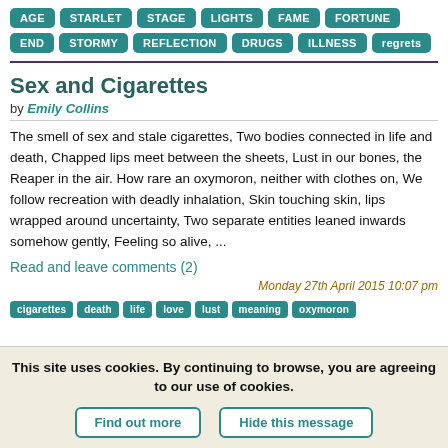AGE STARLET STAGE LIGHTS FAME FORTUNE END STORMY REFLECTION DRUGS ILLNESS regrets
Sex and Cigarettes
by Emily Collins
The smell of sex and stale cigarettes, Two bodies connected in life and death, Chapped lips meet between the sheets, Lust in our bones, the Reaper in the air. How rare an oxymoron, neither with clothes on, We follow recreation with deadly inhalation, Skin touching skin, lips wrapped around uncertainty, Two separate entities leaned inwards somehow gently, Feeling so alive, ...
Read and leave comments (2)
Monday 27th April 2015 10:07 pm
cigarettes death life love lust meaning oxymoron
This site uses cookies. By continuing to browse, you are agreeing to our use of cookies.